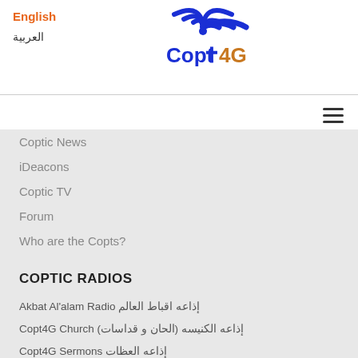English
العربية
[Figure (logo): Copt4G logo with wifi/cross symbol in blue and orange]
Coptic News
iDeacons
Coptic TV
Forum
Who are the Copts?
COPTIC RADIOS
Akbat Al'alam Radio إذاعه اقباط العالم
Copt4G Church إذاعه الكنيسه (الحان و قداسات)
Copt4G Sermons إذاعه العظات